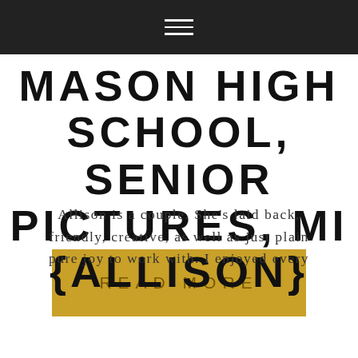≡ (hamburger menu icon)
MASON HIGH SCHOOL, SENIOR PICTURES, MI {ALLISON}
Allison is a couple. She's laid back, friendly, creative, as well as just plain pure joy to work with. I enjoyed every
READ MORE